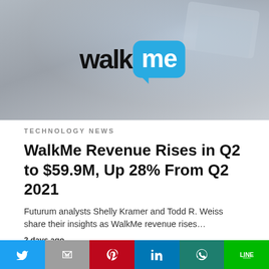[Figure (photo): WalkMe logo on a smartphone screen against a blurred background — the logo shows 'walk' in black text and 'me' in white inside a blue speech bubble]
TECHNOLOGY NEWS
WalkMe Revenue Rises in Q2 to $59.9M, Up 28% From Q2 2021
Futurum analysts Shelly Kramer and Todd R. Weiss share their insights as WalkMe revenue rises…
2 days ago
[Figure (photo): Photo of printed bar charts and financial graphs on paper, showing grouped blue, green, and red bars, with line chart overlaid]
Twitter | Gmail | Pinterest | LinkedIn | WhatsApp | Line